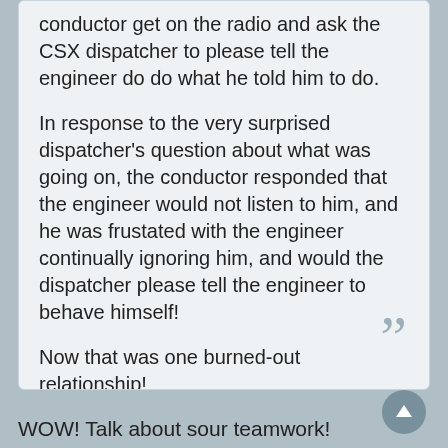conductor get on the radio and ask the CSX dispatcher to please tell the engineer do do what he told him to do.
In response to the very surprised dispatcher's question about what was going on, the conductor responded that the engineer would not listen to him, and he was frustated with the engineer continually ignoring him, and would the dispatcher please tell the engineer to behave himself!
Now that was one burned-out relationship!
ACLfan
WOW! Talk about sour teamwork!